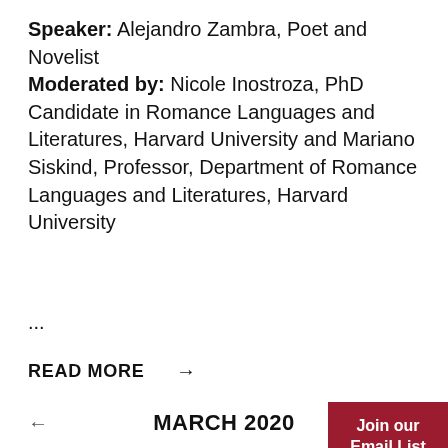Speaker: Alejandro Zambra, Poet and Novelist
Moderated by: Nicole Inostroza, PhD Candidate in Romance Languages and Literatures, Harvard University and Mariano Siskind, Professor, Department of Romance Languages and Literatures, Harvard University
...
READ MORE →
MARCH 2020
| S | M | T | W | T | F | S |
| --- | --- | --- | --- | --- | --- | --- |
| 1 | 2 | 3 | 4 | 5 | 6 | 7 |